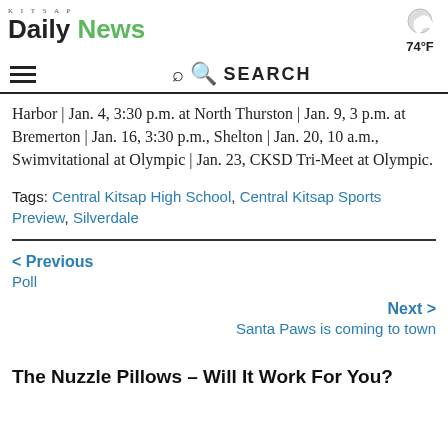KITSAP Daily News | 74°F
Harbor | Jan. 4, 3:30 p.m. at North Thurston | Jan. 9, 3 p.m. at Bremerton | Jan. 16, 3:30 p.m., Shelton | Jan. 20, 10 a.m., Swimvitational at Olympic | Jan. 23, CKSD Tri-Meet at Olympic.
Tags: Central Kitsap High School, Central Kitsap Sports Preview, Silverdale
< Previous
Poll
Next >
Santa Paws is coming to town
The Nuzzle Pillows – Will It Work For You?